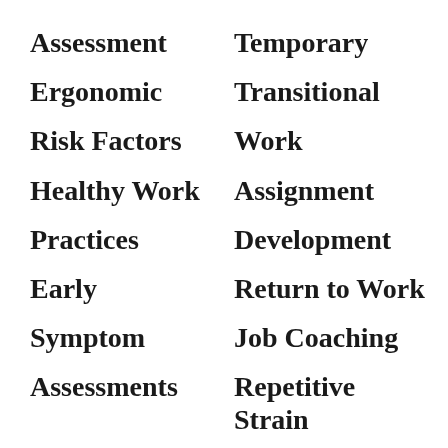Assessment
Temporary
Ergonomic
Transitional
Risk Factors
Work
Healthy Work
Assignment
Practices
Development
Early
Return to Work
Symptom
Job Coaching
Assessments
Repetitive Strain
Injury
Injury
Prevention
Prevention